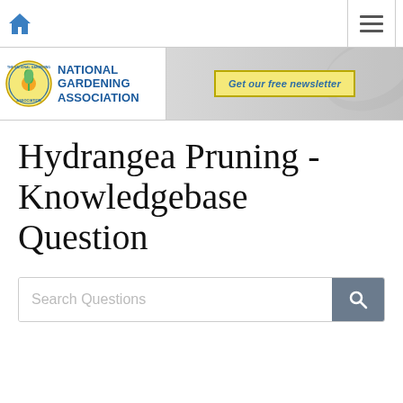National Gardening Association - Hydrangea Pruning Knowledgebase Question
Hydrangea Pruning - Knowledgebase Question
Search Questions